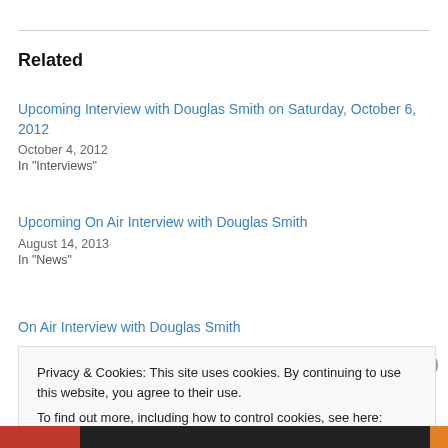Related
Upcoming Interview with Douglas Smith on Saturday, October 6, 2012
October 4, 2012
In "Interviews"
Upcoming On Air Interview with Douglas Smith
August 14, 2013
In "News"
On Air Interview with Douglas Smith
Privacy & Cookies: This site uses cookies. By continuing to use this website, you agree to their use.
To find out more, including how to control cookies, see here: Cookie Policy